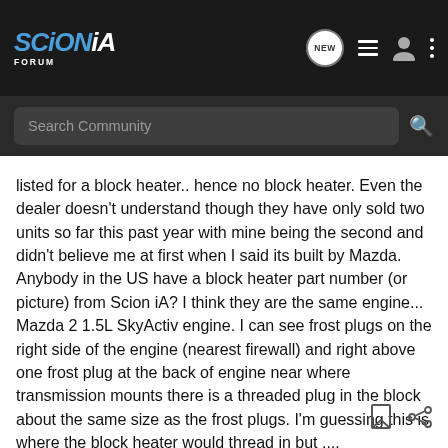Scion iA Forum — NEW | list | user | more
Search Community
listed for a block heater.. hence no block heater. Even the dealer doesn't understand though they have only sold two units so far this past year with mine being the second and didn't believe me at first when I said its built by Mazda. Anybody in the US have a block heater part number (or picture) from Scion iA? I think they are the same engine... Mazda 2 1.5L SkyActiv engine. I can see frost plugs on the right side of the engine (nearest firewall) and right above one frost plug at the back of engine near where transmission mounts there is a threaded plug in the block about the same size as the frost plugs. I'm guessing this is where the block heater would thread in but ....